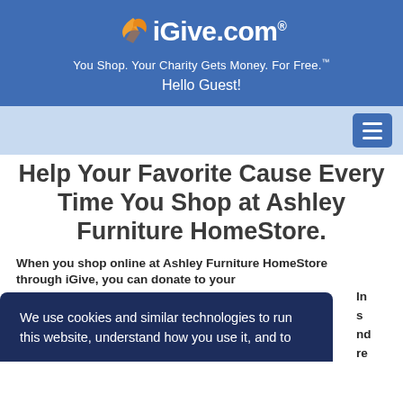iGive.com® — You Shop. Your Charity Gets Money. For Free.™ — Hello Guest!
Help Your Favorite Cause Every Time You Shop at Ashley Furniture HomeStore.
When you shop online at Ashley Furniture HomeStore through iGive, you can donate to your [charity]. In [additional text] and [more] store
We use cookies and similar technologies to run this website, understand how you use it, and to [improve your experience].